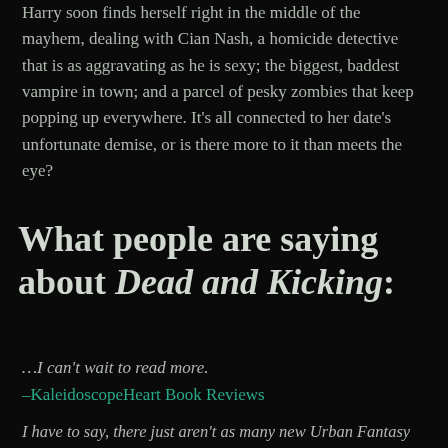Harry soon finds herself right in the middle of the mayhem, dealing with Cian Nash, a homicide detective that is as aggravating as he is sexy; the biggest, baddest vampire in town; and a parcel of pesky zombies that keep popping up everywhere.  It's all connected to her date's unfortunate demise, or is there more to it than meets the eye?
What people are saying about Dead and Kicking:
…I can't wait to read more.
–KaleidoscopeHeart Book Reviews
I have to say, there just aren't as many new Urban Fantasy